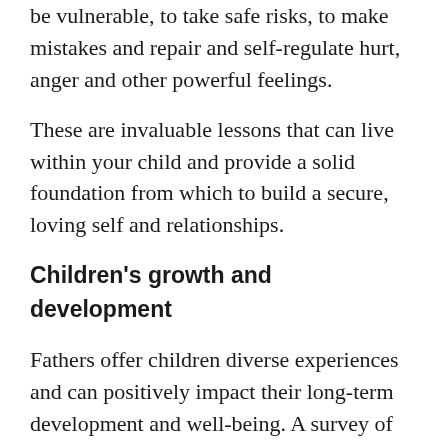be vulnerable, to take safe risks, to make mistakes and repair and self-regulate hurt, anger and other powerful feelings.
These are invaluable lessons that can live within your child and provide a solid foundation from which to build a secure, loving self and relationships.
Children's growth and development
Fathers offer children diverse experiences and can positively impact their long-term development and well-being. A survey of approximately 2,200 parents in the United States found 90 per cent of fathers identified with the statement that parenting was their greatest joy. Interestingly, 76 per cent said it was also their greatest challenge. The survey was conducted by the U.S. non-profit Zero to Three that works to support early connections between caregivers and babies and